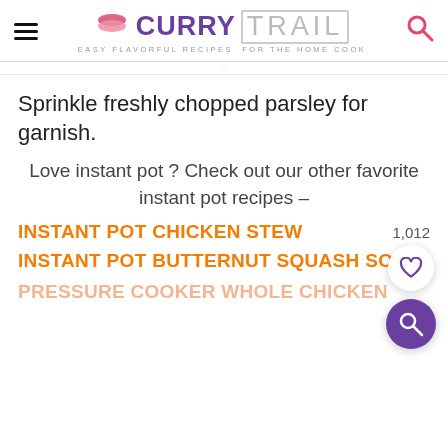CURRY TRAIL — EASY FLAVORFUL RECIPES FOR THE HOME COOK
Sprinkle freshly chopped parsley for garnish.
Love instant pot ? Check out our other favorite instant pot recipes –
INSTANT POT CHICKEN STEW
INSTANT POT BUTTERNUT SQUASH SOUP
PRESSURE COOKER WHOLE CHICKEN